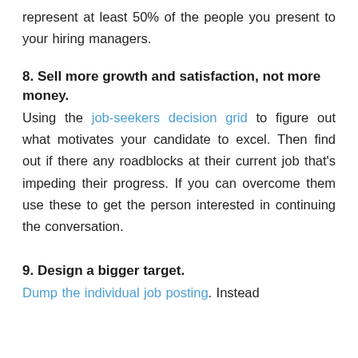represent at least 50% of the people you present to your hiring managers.
8. Sell more growth and satisfaction, not more money.
Using the job-seekers decision grid to figure out what motivates your candidate to excel. Then find out if there any roadblocks at their current job that's impeding their progress. If you can overcome them use these to get the person interested in continuing the conversation.
9. Design a bigger target.
Dump the individual job posting. Instead